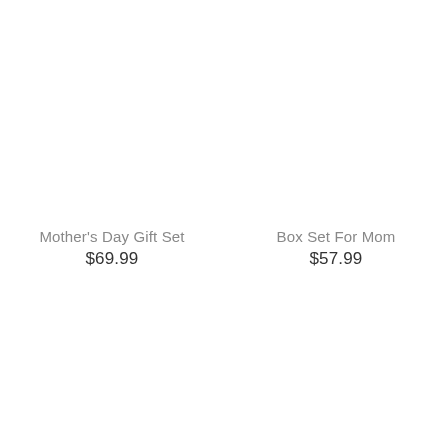Mother's Day Gift Set
$69.99
Box Set For Mom
$57.99